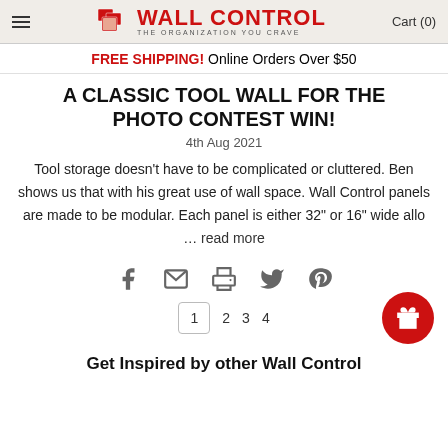Wall Control — THE ORGANIZATION YOU CRAVE | Cart (0)
FREE SHIPPING! Online Orders Over $50
A CLASSIC TOOL WALL FOR THE PHOTO CONTEST WIN!
4th Aug 2021
Tool storage doesn't have to be complicated or cluttered. Ben shows us that with his great use of wall space. Wall Control panels are made to be modular. Each panel is either 32" or 16" wide allo … read more
[Figure (infographic): Social share icons: Facebook, email/envelope, print, Twitter, Pinterest]
1  2  3  4
Get Inspired by other Wall Control